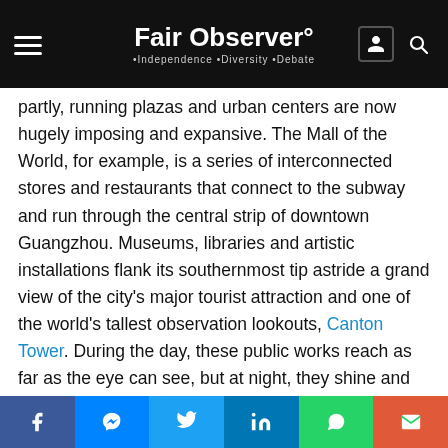Fair Observer° • Independence • Diversity • Debate
partly, running plazas and urban centers are now hugely imposing and expansive. The Mall of the World, for example, is a series of interconnected stores and restaurants that connect to the subway and run through the central strip of downtown Guangzhou. Museums, libraries and artistic installations flank its southernmost tip astride a grand view of the city's major tourist attraction and one of the world's tallest observation lookouts, Canton Tower. During the day, these public works reach as far as the eye can see, but at night, they shine and shimmer with a dazzling array of lights and patterns, all choreographed to impress the myriad
[Figure (other): Social media share bar with Facebook, Messenger, Twitter, LinkedIn, WhatsApp, and Email buttons]